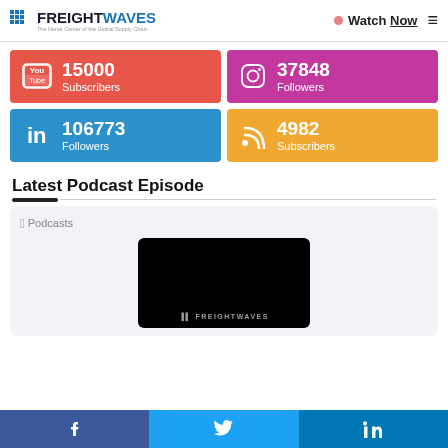FreightWaves — The Nerve Center of the Global Supply Chain
[Figure (infographic): Social media stats: YouTube 15000 Subscribers, Instagram 37848 Followers, LinkedIn 106773 Followers, RSS 4982 Subscribers]
Latest Podcast Episode
[Figure (screenshot): Apple Podcasts player card showing FreightWaves podcast episode thumbnail]
Facebook | Twitter | LinkedIn social share bar